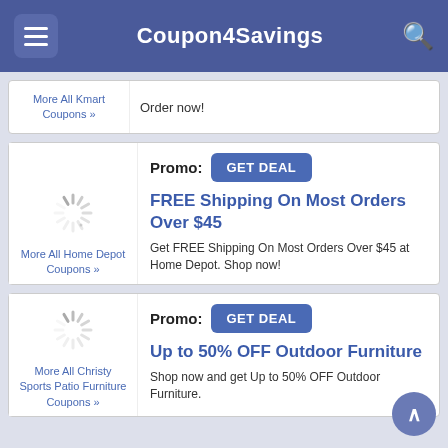Coupon4Savings
More All Kmart Coupons »
Order now!
Promo: GET DEAL
FREE Shipping On Most Orders Over $45
Get FREE Shipping On Most Orders Over $45 at Home Depot. Shop now!
More All Home Depot Coupons »
Promo: GET DEAL
Up to 50% OFF Outdoor Furniture
Shop now and get Up to 50% OFF Outdoor Furniture.
More All Christy Sports Patio Furniture Coupons »